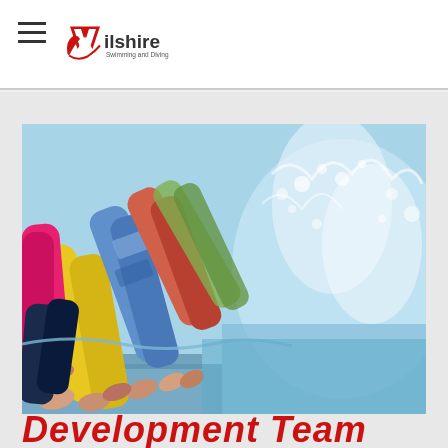Wilshire Swimming and Diving
[Figure (photo): Children's legs and feet splashing into a swimming pool from poolside, wearing colorful swimwear (pink, yellow, blue, multicolor). Water splashing dramatically to the right side.]
Development Team